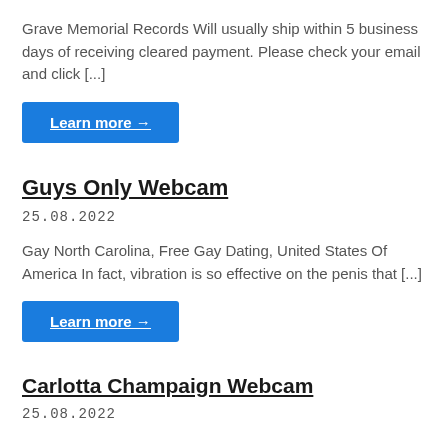Grave Memorial Records Will usually ship within 5 business days of receiving cleared payment. Please check your email and click [...]
Learn more →
Guys Only Webcam
25.08.2022
Gay North Carolina, Free Gay Dating, United States Of America In fact, vibration is so effective on the penis that [...]
Learn more →
Carlotta Champaign Webcam
25.08.2022